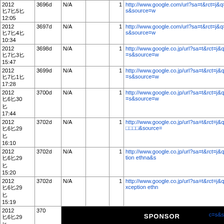| Date | ID1 | Date2 | ID2 | Num | URL |
| --- | --- | --- | --- | --- | --- |
| 2012
⊡7⊡5⊡
12:05 | 3696d | N/A |  | 1 | http://www.google.com/url?sa=t&rct=j&q=&esrc=s&source=w... |
| 2012
⊡7⊡4⊡
10:34 | 3697d | N/A |  | 1 | http://www.google.com/url?sa=t&rct=j&q=&esrc=s&source=w... |
| 2012
⊡7⊡3⊡
15:47 | 3698d | N/A |  | 1 | http://www.google.co.jp/url?sa=t&rct=j&q=&esrc=s&source=w... |
| 2012
⊡7⊡1⊡
17:28 | 3699d | N/A |  | 1 | http://www.google.co.jp/url?sa=t&rct=j&q=&esrc=s&source=w... |
| 2012
⊡6⊡30
⊡
17:44 | 3700d | N/A |  | 1 | http://www.google.co.jp/url?sa=t&rct=j&q=&esrc=s&source=w... |
| 2012
⊡6⊡29
⊡
16:10 | 3702d | N/A |  | 1 | http://www.google.co.jp/url?sa=t&rct=j&q=pdo ⊡⊡⊡⊡⊡&source=... |
| 2012
⊡6⊡29
⊡
15:20 | 3702d | N/A |  | 1 | http://www.google.co.jp/url?sa=t&rct=j&q=exception ethna&s... |
| 2012
⊡6⊡29
⊡
15:19 | 3702d | N/A |  | 1 | http://www.google.co.jp/url?sa=t&rct=j&q=php exception ethn... |
| 2012
⊡6⊡29
⊡
10:29 | 370... | N/A |  | 1 | [SPONSOR] |
| 2012
⊡6⊡29
⊡
10:19 | 3702d | 2008
⊡2⊡21
⊡
17:13 | 5292d | 15 | http://buzzurl.jp/entry/http://dozo.matrix.jp/pear/index.php?Fra... |
| 2012
⊡6⊡29
... |  |  |  |  |  |